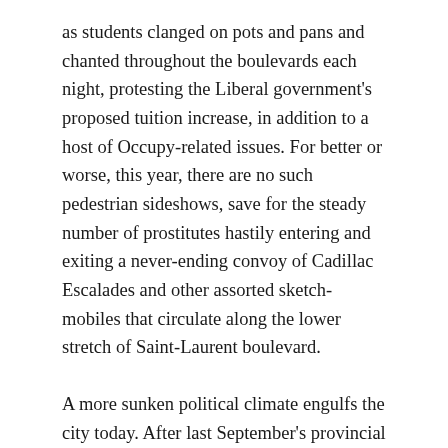as students clanged on pots and pans and chanted throughout the boulevards each night, protesting the Liberal government's proposed tuition increase, in addition to a host of Occupy-related issues. For better or worse, this year, there are no such pedestrian sideshows, save for the steady number of prostitutes hastily entering and exiting a never-ending convoy of Cadillac Escalades and other assorted sketch-mobiles that circulate along the lower stretch of Saint-Laurent boulevard.
A more sunken political climate engulfs the city today. After last September's provincial election, newly-elected Parti Quebecois Premier Pauline Marois's victory speech - which took place at Metropolis, one of Mutek's main venues - was rocked by an assassination attempt that killed a stagehand. In the months since, the province has been dragged back into old conversations around language and nation; Montreal is mired in crumbling infrastructure and bogged down in a lengthy and as yet inconsequential investigation into wide-reaching allegations of corruption at the